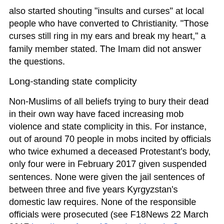also started shouting "insults and curses" at local people who have converted to Christianity. "Those curses still ring in my ears and break my heart," a family member stated. The Imam did not answer the questions.
Long-standing state complicity
Non-Muslims of all beliefs trying to bury their dead in their own way have faced increasing mob violence and state complicity in this. For instance, out of around 70 people in mobs incited by officials who twice exhumed a deceased Protestant's body, only four were in February 2017 given suspended sentences. None were given the jail sentences of between three and five years Kyrgyzstan's domestic law requires. None of the responsible officials were prosecuted (see F18News 22 March 2017 http://www.forum18.org/archive.php?article_id=2266).
This long-standing problem was exacerbated by a small but crucial one-sentence change in the 2009 Religion Law. A new Article 16, Part 2 stated: "Recognition of